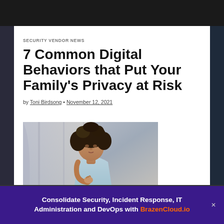SECURITY VENDOR NEWS
7 Common Digital Behaviors that Put Your Family's Privacy at Risk
by Toni Birdsong • November 12, 2021
[Figure (photo): A woman with curly hair sitting at a desk, hand raised to her chin in a thoughtful pose, looking at a laptop computer]
Consolidate Security, Incident Response, IT Administration and DevOps with BrazenCloud.io